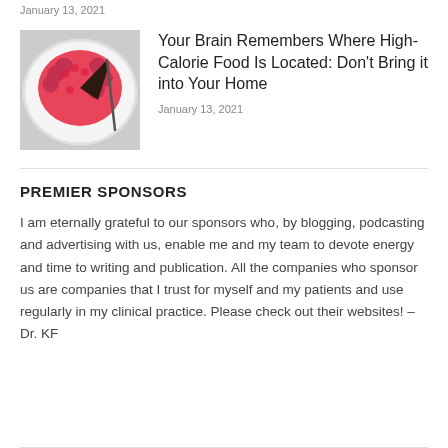January 13, 2021
[Figure (photo): A brain-shaped chocolate cake with red frosting on a white plate, with a slice cut out showing dark interior]
Your Brain Remembers Where High-Calorie Food Is Located: Don't Bring it into Your Home
January 13, 2021
PREMIER SPONSORS
I am eternally grateful to our sponsors who, by blogging, podcasting and advertising with us, enable me and my team to devote energy and time to writing and publication. All the companies who sponsor us are companies that I trust for myself and my patients and use regularly in my clinical practice. Please check out their websites! – Dr. KF